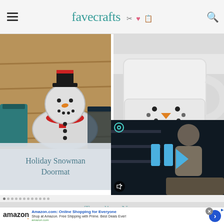favecrafts
[Figure (photo): Crocheted snowman holiday doormat on wooden floor with gift bags]
[Figure (photo): Crocheted snowman mug cozy on white coffee mug]
Holiday Snowman Doormat
[Figure (screenshot): Video overlay showing woman in craft room with blue play button icon]
Trending Now
[Figure (screenshot): Amazon advertisement banner: Amazon.com: Online Shopping for Everyone. Shop at Amazon. Free Shipping with Prime. Best Deals Ever! amazon.com]